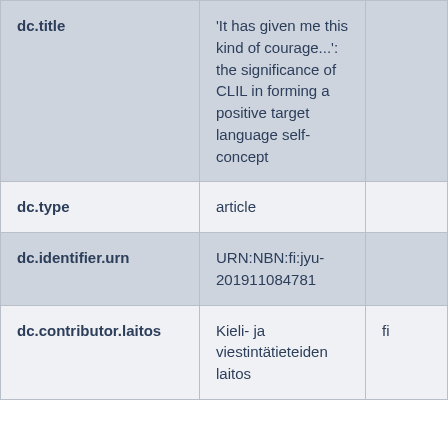| Field | Value | Lang |
| --- | --- | --- |
| dc.title | 'It has given me this kind of courage...': the significance of CLIL in forming a positive target language self-concept |  |
| dc.type | article |  |
| dc.identifier.urn | URN:NBN:fi:jyu-201911084781 |  |
| dc.contributor.laitos | Kieli- ja viestintätieteiden laitos | fi |